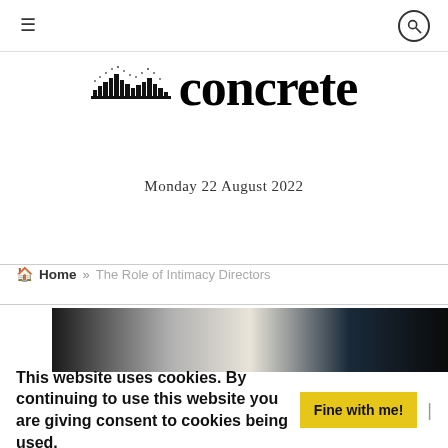≡ [hamburger menu] [search icon]
[Figure (logo): Concrete newspaper logo with stylized building/cityscape icon followed by the word 'concrete' in bold serif font]
Monday 22 August 2022
🏠 Home » The Role of Intimacy Directors
[Figure (photo): Partial article header image showing dark and light tones, appears to be a dramatic scene]
This website uses cookies. By continuing to use this website you are giving consent to cookies being used.  Fine with me!  |